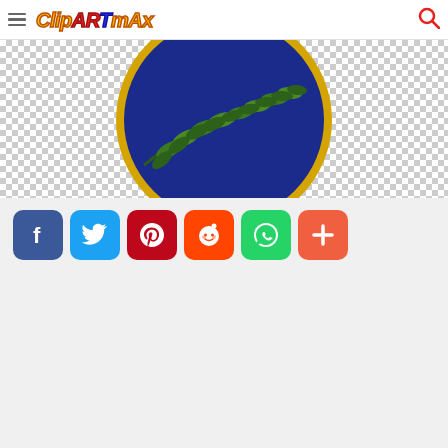ClipartMax
[Figure (illustration): Partial view of a circular seal/badge with blue background, gold border, and green olive branch leaves, shown against a checkered transparent background]
[Figure (infographic): Row of social media share buttons: Facebook (blue), Twitter (light blue), Pinterest (red), Reddit (orange-red), WhatsApp (green), More/Plus (orange-red)]